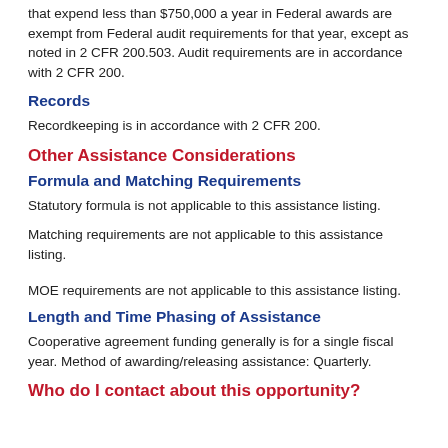that expend less than $750,000 a year in Federal awards are exempt from Federal audit requirements for that year, except as noted in 2 CFR 200.503. Audit requirements are in accordance with 2 CFR 200.
Records
Recordkeeping is in accordance with 2 CFR 200.
Other Assistance Considerations
Formula and Matching Requirements
Statutory formula is not applicable to this assistance listing.
Matching requirements are not applicable to this assistance listing.
MOE requirements are not applicable to this assistance listing.
Length and Time Phasing of Assistance
Cooperative agreement funding generally is for a single fiscal year. Method of awarding/releasing assistance: Quarterly.
Who do I contact about this opportunity?